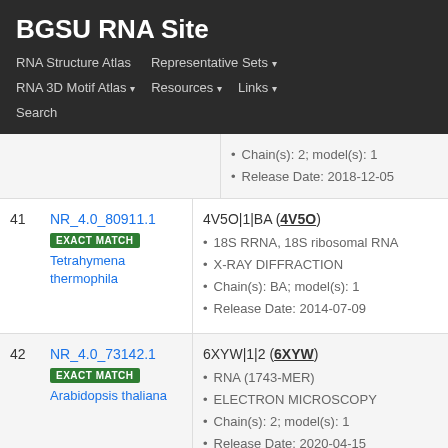BGSU RNA Site
RNA Structure Atlas | Representative Sets ▾ | RNA 3D Motif Atlas ▾ | Resources ▾ | Links ▾ | Search
| # | ID | Details |
| --- | --- | --- |
|  |  | Chain(s): 2; model(s): 1 | Release Date: 2018-12-05 |
| 41 | NR_4.0_80911.1 EXACT MATCH Tetrahymena thermophila | 4V5O|1|BA (4V5O) • 18S RRNA, 18S ribosomal RNA • X-RAY DIFFRACTION • Chain(s): BA; model(s): 1 • Release Date: 2014-07-09 |
| 42 | NR_4.0_73142.1 EXACT MATCH Arabidopsis thaliana | 6XYW|1|2 (6XYW) • RNA (1743-MER) • ELECTRON MICROSCOPY • Chain(s): 2; model(s): 1 • Release Date: 2020-04-15 |